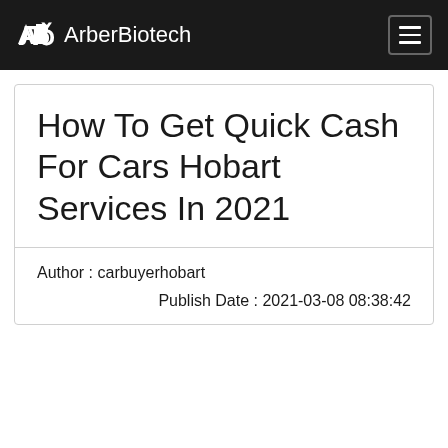ArberBiotech
How To Get Quick Cash For Cars Hobart Services In 2021
Author : carbuyerhobart
Publish Date : 2021-03-08 08:38:42